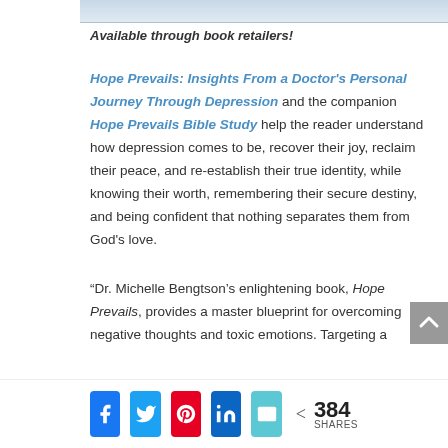[Figure (photo): Partial image strip at top of page, appears to be a book cover or decorative image]
Available through book retailers!
Hope Prevails: Insights From a Doctor's Personal Journey Through Depression and the companion Hope Prevails Bible Study help the reader understand how depression comes to be, recover their joy, reclaim their peace, and re-establish their true identity, while knowing their worth, remembering their secure destiny, and being confident that nothing separates them from God's love.
“Dr. Michelle Bengtson’s enlightening book, Hope Prevails, provides a master blueprint for overcoming negative thoughts and toxic emotions. Targeting a